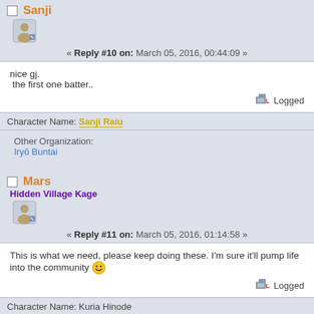Sanji
« Reply #10 on: March 05, 2016, 00:44:09 »
nice gj.
 the first one batter..
Logged
Character Name: Sanji Raiu
Other Organization:
Iryō Buntai
Mars
Hidden Village Kage
« Reply #11 on: March 05, 2016, 01:14:58 »
This is what we need, please keep doing these. I'm sure it'll pump life into the community
Logged
Character Name: Kuria Hinode